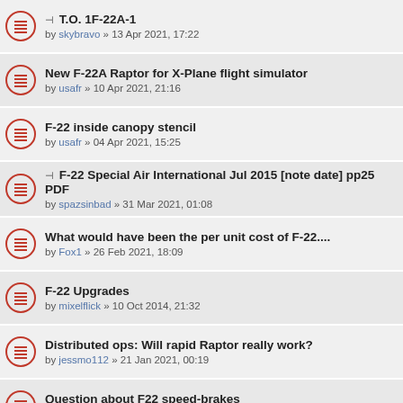📎 T.O. 1F-22A-1 by skybravo » 13 Apr 2021, 17:22
New F-22A Raptor for X-Plane flight simulator by usafr » 10 Apr 2021, 21:16
F-22 inside canopy stencil by usafr » 04 Apr 2021, 15:25
📎 F-22 Special Air International Jul 2015 [note date] pp25 PDF by spazsinbad » 31 Mar 2021, 01:08
What would have been the per unit cost of F-22.... by Fox1 » 26 Feb 2021, 18:09
F-22 Upgrades by mixelflick » 10 Oct 2014, 21:32
Distributed ops: Will rapid Raptor really work? by jessmo112 » 21 Jan 2021, 00:19
Question about F22 speed-brakes by nettles » 01 Aug 2020, 21:55
Could a NATF-22 work today? by jessmo112 » 02 Dec 2020, 16:03
Does this vid show off the F-22